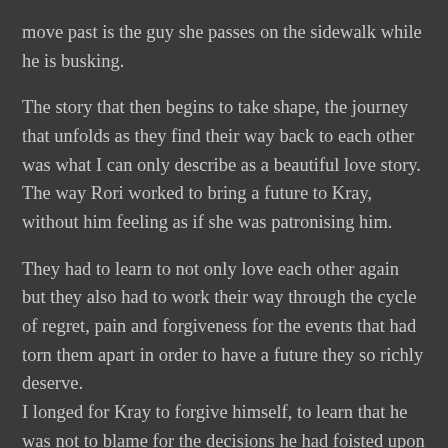move past is the guy she passes on the sidewalk while he is busking.
The story that then begins to take shape, the journey that unfolds as they find their way back to each other was what I can only describe as a beautiful love story. The way Rori worked to bring a future to Kray, without him feeling as if she was patronising him.
They had to learn to not only love each other again but they also had to work their way through the cycle of regret, pain and forgiveness for the events that had torn them apart in order to have a future they so richly deserve.
I longed for Kray to forgive himself, to learn that he was not to blame for the decisions he had foisted upon him.
His life on the street almost was not one that any sane person would have ever have elected but with Rori he has a